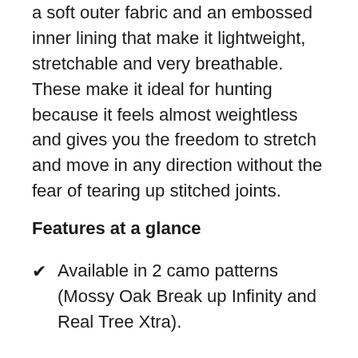a soft outer fabric and an embossed inner lining that make it lightweight, stretchable and very breathable. These make it ideal for hunting because it feels almost weightless and gives you the freedom to stretch and move in any direction without the fear of tearing up stitched joints.
Features at a glance
Available in 2 camo patterns (Mossy Oak Break up Infinity and Real Tree Xtra).